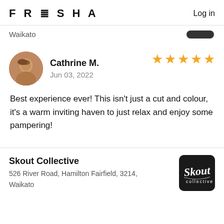FRESHA   Log in
Waikato
Cathrine M.
Jun 03, 2022
Best experience ever! This isn't just a cut and colour, it's a warm inviting haven to just relax and enjoy some pampering!
Skout Collective
526 River Road, Hamilton Fairfield, 3214, Waikato